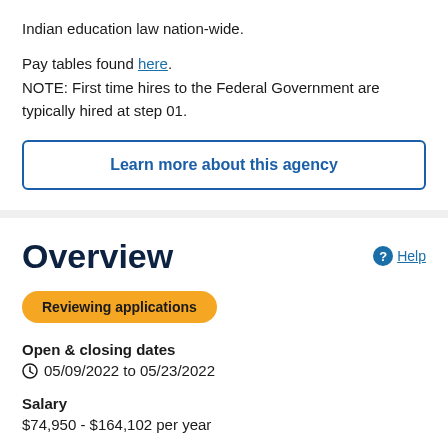Indian education law nation-wide.
Pay tables found here.
NOTE: First time hires to the Federal Government are typically hired at step 01.
Learn more about this agency
Overview
Reviewing applications
Open & closing dates
05/09/2022 to 05/23/2022
Salary
$74,950 - $164,102 per year